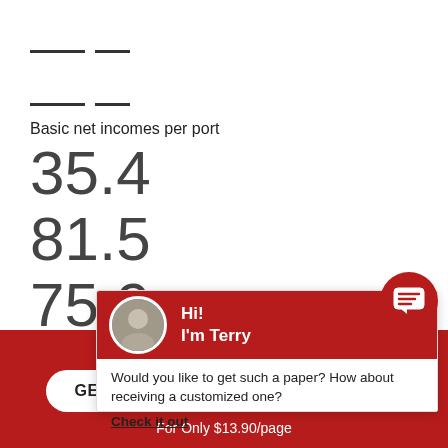Basic net incomes per port...
35.4
81.5
75.9
7.0
[Figure (screenshot): Chat popup overlay with avatar of Terry, greeting 'Hi! I'm Terry', and message 'Would you like to get such a paper? How about receiving a customized one? Check it out']
Haven't found the Essay You Want?
GET YOUR CUSTOM ESSAY SAMPLE
For Only $13.90/page